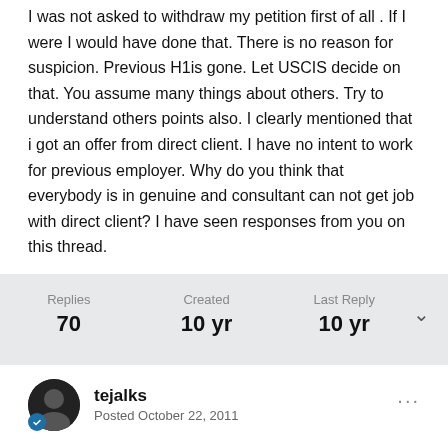I was not asked to withdraw my petition first of all . If I were I would have done that. There is no reason for suspicion. Previous H1is gone. Let USCIS decide on that. You assume many things about others. Try to understand others points also. I clearly mentioned that i got an offer from direct client. I have no intent to work for previous employer. Why do you think that everybody is in genuine and consultant can not get job with direct client? I have seen responses from you on this thread.
Replies 70   Created 10 yr   Last Reply 10 yr
tejalks
Posted October 22, 2011
@ Livingwater,

I was following your posts since some time, as my situation is also like yours - with case being sent back to USCIS. It is indeed